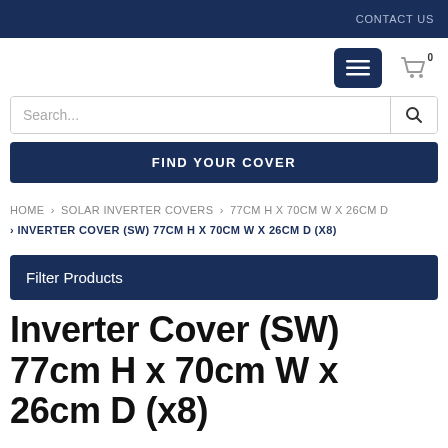CONTACT US
[Figure (screenshot): Navigation bar with hamburger menu button and shopping cart icon showing 0 items]
[Figure (screenshot): Search input box with search button]
FIND YOUR COVER
HOME › SOLAR INVERTER COVERS › 77CM H X 70CM W X 26CM D › INVERTER COVER (SW) 77CM H X 70CM W X 26CM D (X8)
Filter Products
Inverter Cover (SW) 77cm H x 70cm W x 26cm D (x8)